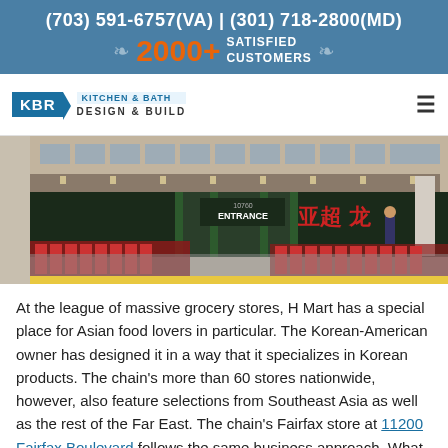(703) 591-6757(VA) | (301) 718-2800(MD)
2000+ SATISFIED CUSTOMERS
[Figure (logo): KBR Kitchen & Bath Design & Build logo with navigation hamburger menu]
[Figure (photo): Exterior photo of H Mart grocery store showing entrance with shopping carts and Asian signage]
At the league of massive grocery stores, H Mart has a special place for Asian food lovers in particular. The Korean-American owner has designed it in a way that it specializes in Korean products. The chain's more than 60 stores nationwide, however, also feature selections from Southeast Asia as well as the rest of the Far East. The chain's Fairfax store at 11200 Fairfax Boulevard follows the same business approach. What you can expect is an extensive grocery store nicely organized